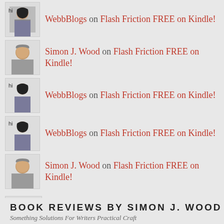WebbBlogs on Flash Friction FREE on Kindle!
Simon J. Wood on Flash Friction FREE on Kindle!
WebbBlogs on Flash Friction FREE on Kindle!
WebbBlogs on Flash Friction FREE on Kindle!
Simon J. Wood on Flash Friction FREE on Kindle!
Darnell Cureton on Flash Friction FREE on Kindle!
Abdel on Death of a Postman
Shirley Muirhead on Memory Lane
BOOK REVIEWS BY SIMON J. WOOD
Something Solutions For Writers Practical Craft